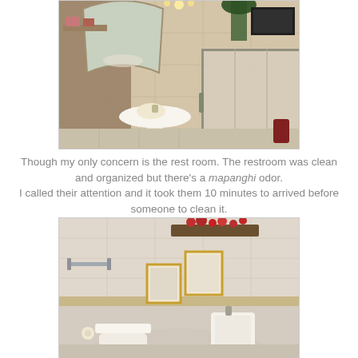[Figure (photo): A bathroom with a pedestal sink, arched mirror, and glass shower enclosure with beige/tan tile walls.]
Though my only concern is the rest room. The restroom was clean and organized but there’s a mapanghi odor. I called their attention and it took them 10 minutes to arrived before someone to clean it.
[Figure (photo): A bathroom with white tiled walls, a toilet, urinal, decorative framed pictures on wall, and a rustic wood shelf with red flowers near the ceiling.]